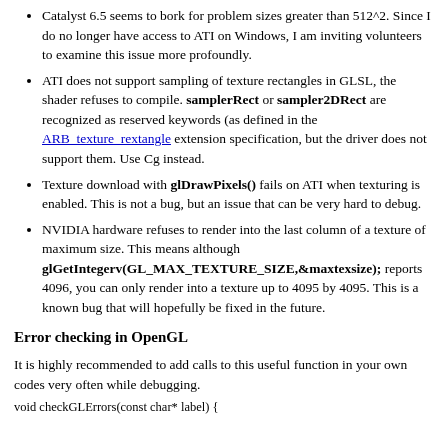Catalyst 6.5 seems to bork for problem sizes greater than 512^2. Since I do no longer have access to ATI on Windows, I am inviting volunteers to examine this issue more profoundly.
ATI does not support sampling of texture rectangles in GLSL, the shader refuses to compile. samplerRect or sampler2DRect are recognized as reserved keywords (as defined in the ARB_texture_rextangle extension specification, but the driver does not support them. Use Cg instead.
Texture download with glDrawPixels() fails on ATI when texturing is enabled. This is not a bug, but an issue that can be very hard to debug.
NVIDIA hardware refuses to render into the last column of a texture of maximum size. This means although glGetIntegerv(GL_MAX_TEXTURE_SIZE,&maxtexsize); reports 4096, you can only render into a texture up to 4095 by 4095. This is a known bug that will hopefully be fixed in the future.
Error checking in OpenGL
It is highly recommended to add calls to this useful function in your own codes very often while debugging.
void checkGLErrors(const char* label) {